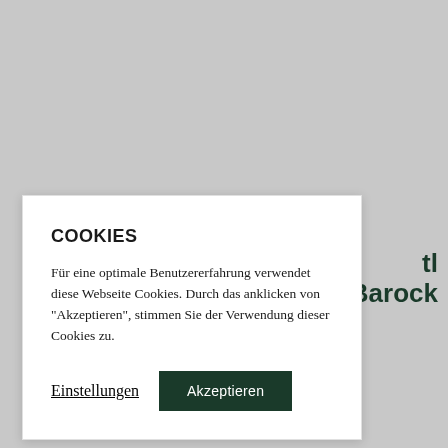tl
felette Barock
COOKIES
Für eine optimale Benutzererfahrung verwendet diese Webseite Cookies. Durch das anklicken von "Akzeptieren", stimmen Sie der Verwendung dieser Cookies zu.
Einstellungen
Akzeptieren